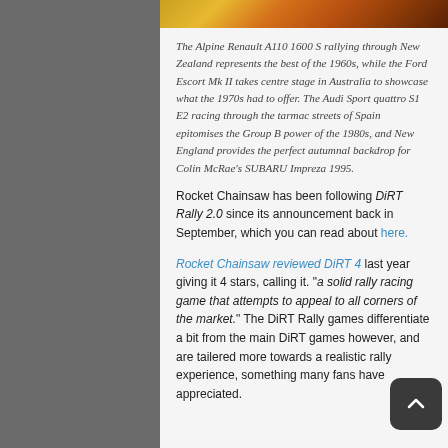[Figure (photo): Partial photo strip showing motion-blurred rally car action in warm orange/brown tones]
The Alpine Renault A110 1600 S rallying through New Zealand represents the best of the 1960s, while the Ford Escort Mk II takes centre stage in Australia to showcase what the 1970s had to offer. The Audi Sport quattro S1 E2 racing through the tarmac streets of Spain epitomises the Group B power of the 1980s, and New England provides the perfect autumnal backdrop for Colin McRae's SUBARU Impreza 1995.
Rocket Chainsaw has been following DiRT Rally 2.0 since its announcement back in September, which you can read about here.
Rocket Chainsaw reviewed DiRT 4 last year giving it 4 stars, calling it. “a solid rally racing game that attempts to appeal to all corners of the market.” The DiRT Rally games differentiate a bit from the main DiRT games however, and are tailered more towards a realistic rally experience, something many fans have appreciated.